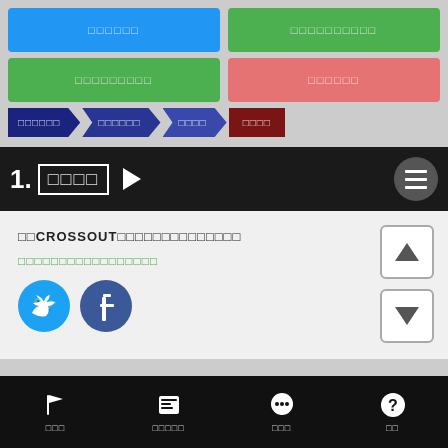[Figure (screenshot): Mobile app interface showing navigation buttons in blue and green, breadcrumb navigation arrows in dark navy and dark red, a numbered section header with play button and hamburger menu, content area with CROSSOUT title text and green link text, social media icons (Twitter/Facebook), up/down scroll buttons, and bottom navigation bar with flag, news, chat, and help icons]
□□CROSSOUT□□□□□□□□□□□□□□
□□□□□□□□□□□□□□□□□
□□□  □□□□□  □□□  □□